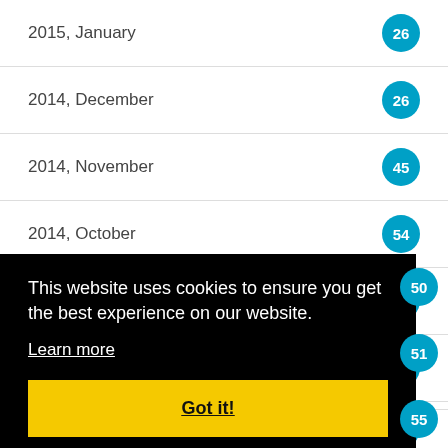2015, January
2014, December
2014, November
2014, October
2014, September
2014, August
2014, July
(partially hidden)
(partially hidden)
(partially hidden)
(partially hidden)
(partially hidden)
(partially hidden)
2013, December
This website uses cookies to ensure you get the best experience on our website. Learn more Got it!